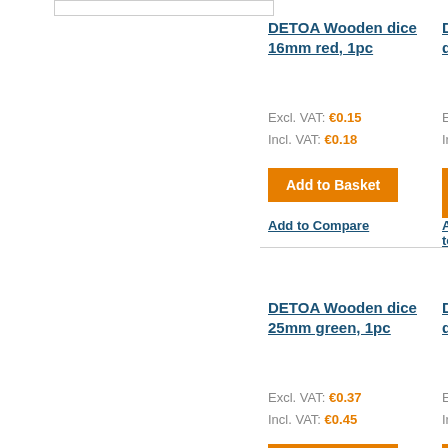[Figure (other): Top image placeholder box (product image area, partially visible)]
DETOA Wooden dice 16mm red, 1pc
Excl. VAT: €0.15
Incl. VAT: €0.18
Add to Basket
Add to Compare
DETOA Wooden dice 16mm
Excl. VA
Incl. VA
Add to
Add to C
DETOA Wooden dice 25mm green, 1pc
Excl. VAT: €0.37
Incl. VAT: €0.45
DETOA Wooden dice 25mm
Excl. VA
Incl. VA
Add to Basket (partially visible)